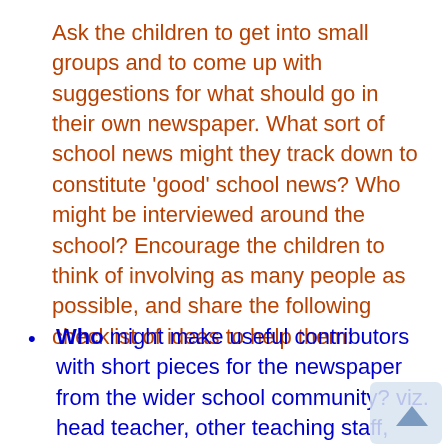Ask the children to get into small groups and to come up with suggestions for what should go in their own newspaper. What sort of school news might they track down to constitute 'good' school news? Who might be interviewed around the school? Encourage the children to think of involving as many people as possible, and share the following checklist of ideas to help them:
Who might make useful contributors with short pieces for the newspaper from the wider school community? viz. head teacher, other teaching staff,